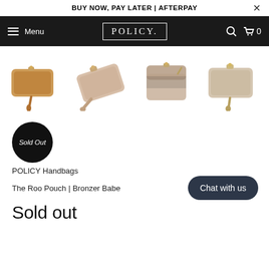BUY NOW, PAY LATER | AFTERPAY
[Figure (screenshot): Navigation bar with hamburger menu, POLICY logo, search icon, and cart icon showing 0 items on dark background]
[Figure (photo): Four views of The Roo Pouch in Bronzer Babe colorway — tan/bronze leather wristlet clutch shown from different angles]
[Figure (other): Sold Out badge — black circle with italic white text]
POLICY Handbags
The Roo Pouch | Bronzer Babe
Sold out
[Figure (other): Chat with us button — dark rounded rectangle]